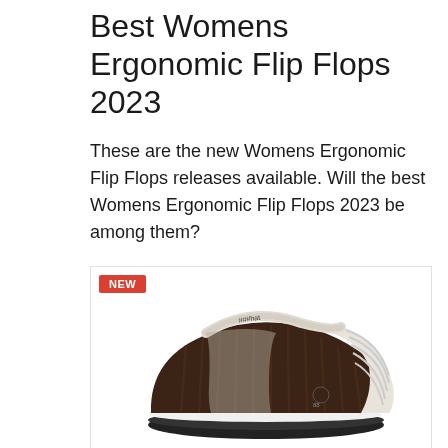Best Womens Ergonomic Flip Flops 2023
These are the new Womens Ergonomic Flip Flops releases available. Will the best Womens Ergonomic Flip Flops 2023 be among them?
[Figure (photo): A women's ergonomic slipper/clog shoe with ribbed dark brown fabric upper, cream/white ridged side panel, and dark rubber sole. A 'NEW' badge appears in the top-left corner of the image frame.]